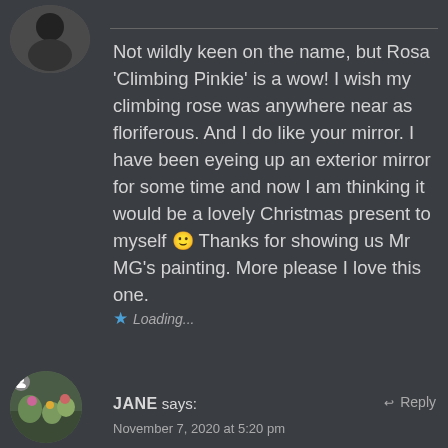[Figure (photo): Circular avatar photo, black and white, top left corner, partially cropped]
Not wildly keen on the name, but Rosa 'Climbing Pinkie' is a wow! I wish my climbing rose was anywhere near as floriferous. And I do like your mirror. I have been eyeing up an exterior mirror for some time and now I am thinking it would be a lovely Christmas present to myself 🙂 Thanks for showing us Mr MG's painting. More please I love this one.
Loading...
[Figure (photo): Circular avatar photo, garden scene with flowers, bottom left area]
JANE says: November 7, 2020 at 5:20 pm
Reply